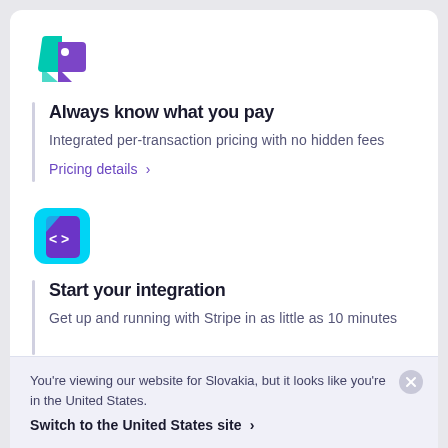[Figure (logo): Price tag icon with teal and purple gradient colors]
Always know what you pay
Integrated per-transaction pricing with no hidden fees
Pricing details >
[Figure (logo): Code file icon with cyan background and purple document shape with code brackets]
Start your integration
Get up and running with Stripe in as little as 10 minutes
You're viewing our website for Slovakia, but it looks like you're in the United States.
Switch to the United States site >